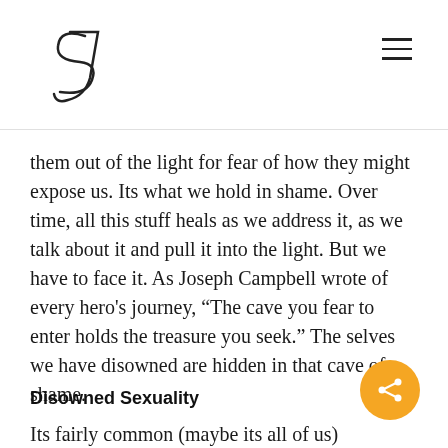SJ [logo] [hamburger menu]
them out of the light for fear of how they might expose us. Its what we hold in shame. Over time, all this stuff heals as we address it, as we talk about it and pull it into the light. But we have to face it. As Joseph Campbell wrote of every hero's journey, “The cave you fear to enter holds the treasure you seek.” The selves we have disowned are hidden in that cave of shame.
Disowned Sexuality
Its fairly common (maybe its all of us)